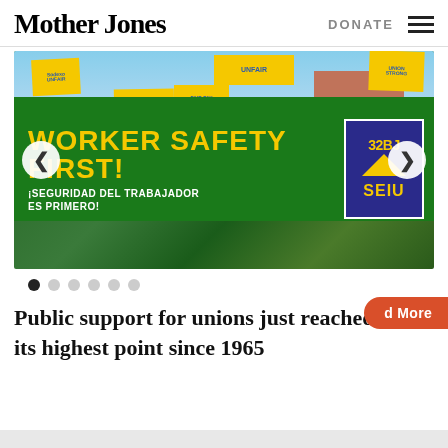Mother Jones
DONATE
[Figure (photo): Protest photo showing workers carrying a large green banner reading 'WORKER SAFETY FIRST! SEGURIDAD DEL TRABAJADOR ES PRIMERO!' with SEIU 32BJ logo, surrounded by people holding yellow signs saying 'Sodexo UNFAIR' and 'UNFAIR']
Public support for unions just reached its highest point since 1965
d More